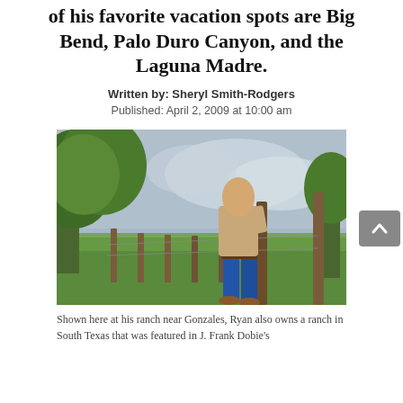of his favorite vacation spots are Big Bend, Palo Duro Canyon, and the Laguna Madre.
Written by: Sheryl Smith-Rodgers
Published: April 2, 2009 at 10:00 am
[Figure (photo): An older man in a tan long-sleeve shirt and blue jeans leans against a wooden fence post on a green ranch property with trees in the background and a cloudy sky.]
Shown here at his ranch near Gonzales, Ryan also owns a ranch in South Texas that was featured in J. Frank Dobie's